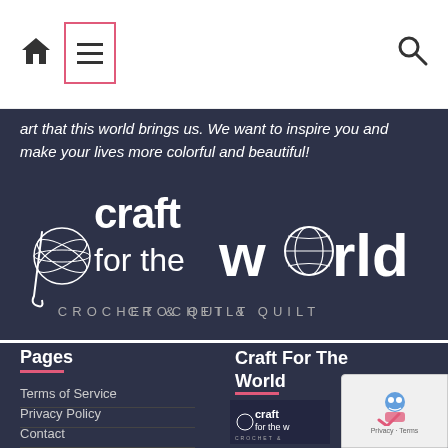Navigation bar with home icon, menu (hamburger) icon in pink/red border box, and search icon
art that this world brings us. We want to inspire you and make your lives more colorful and beautiful!
[Figure (logo): Craft for the World - Crochet & Quilt logo on dark navy background. Large white text 'craft for the world' with a yarn ball and crochet hook illustration and globe motif integrated into the letter 'o'. Subtitle reads 'CROCHET & QUILT' in spaced capitals.]
Pages
Terms of Service
Privacy Policy
Contact
Craft For The World
[Figure (logo): Small Craft for the World logo thumbnail on dark background]
[Figure (other): reCAPTCHA badge with robot icon, Privacy and Terms links]